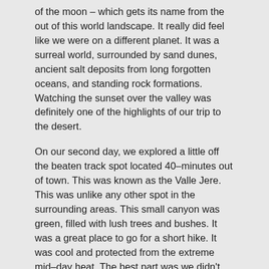of the moon – which gets its name from the out of this world landscape. It really did feel like we were on a different planet. It was a surreal world, surrounded by sand dunes, ancient salt deposits from long forgotten oceans, and standing rock formations. Watching the sunset over the valley was definitely one of the highlights of our trip to the desert.
On our second day, we explored a little off the beaten track spot located 40–minutes out of town. This was known as the Valle Jere. This was unlike any other spot in the surrounding areas. This small canyon was green, filled with lush trees and bushes. It was a great place to go for a short hike. It was cool and protected from the extreme mid–day heat. The best part was we didn't have to bump into many other tourists.
We would love to go back and explore more of this unusual place. 3 days in Chile was not long enough to really explore. Before we a chance to say hello, we were back on the road to Argentina. We hope you enjoy the video of our exploration.